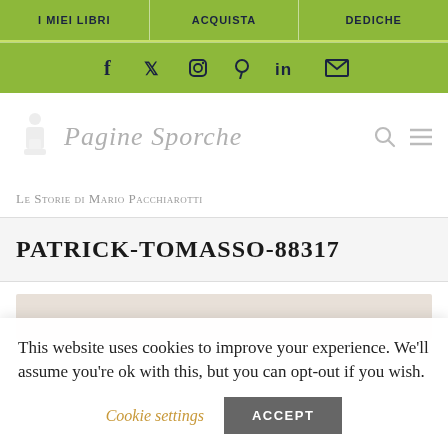I MIEI LIBRI | ACQUISTA | DEDICHE
[Figure (other): Social media icon bar with Facebook, Twitter, Instagram, Pinterest, LinkedIn, and Email icons on green background]
[Figure (logo): Pagine Sporche logo with stylized book/hand icon and italic script text]
Le Storie di Mario Pacchiarotti
PATRICK-TOMASSO-88317
[Figure (photo): Partial image visible at bottom of content area]
This website uses cookies to improve your experience. We'll assume you're ok with this, but you can opt-out if you wish.
Cookie settings   ACCEPT